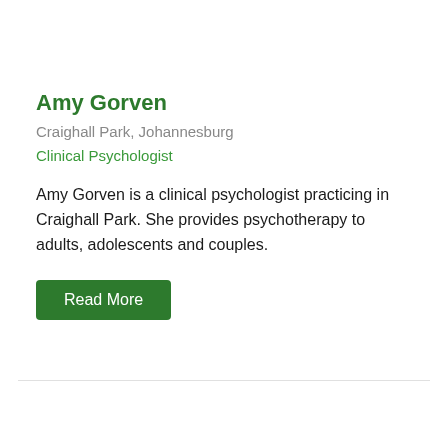Amy Gorven
Craighall Park, Johannesburg
Clinical Psychologist
Amy Gorven is a clinical psychologist practicing in Craighall Park. She provides psychotherapy to adults, adolescents and couples.
Read More